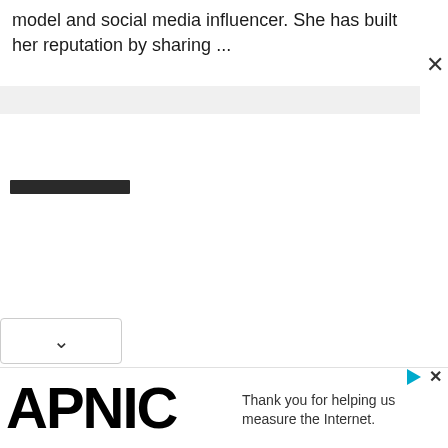model and social media influencer. She has built her reputation by sharing ...
[Figure (screenshot): A search bar UI element with a dark filled progress/text bar on a light gray background, and an X close button to the right]
[Figure (screenshot): A dropdown button with a downward chevron arrow indicator]
[Figure (screenshot): APNIC advertisement banner at bottom of page with triangle play icon and X close icon, text reads: Thank you for helping us measure the Internet.]